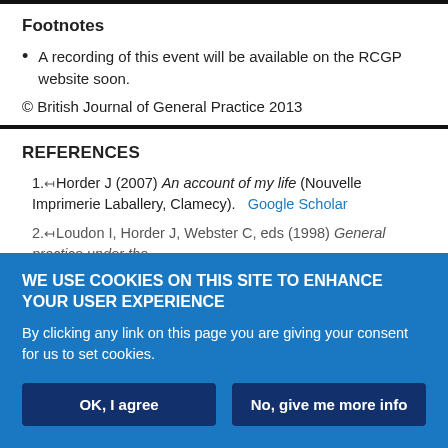Footnotes
A recording of this event will be available on the RCGP website soon.
© British Journal of General Practice 2013
REFERENCES
1. Horder J (2007) An account of my life (Nouvelle Imprimerie Laballery, Clamecy). Google Scholar
2. Loudon I, Horder J, Webster C, eds (1998) General practice under the...
WE USE COOKIES ON THIS SITE TO ENHANCE YOUR USER EXPERIENCE
By clicking any link on this page you are giving your consent for us to set cookies.